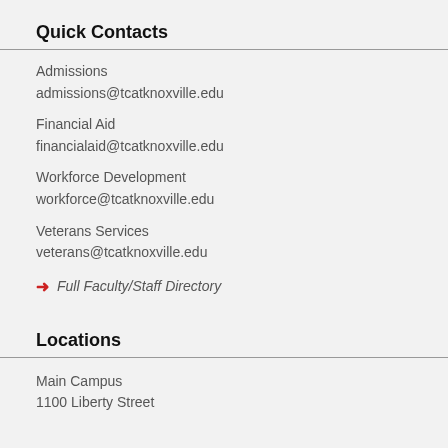Quick Contacts
Admissions
admissions@tcatknoxville.edu
Financial Aid
financialaid@tcatknoxville.edu
Workforce Development
workforce@tcatknoxville.edu
Veterans Services
veterans@tcatknoxville.edu
→ Full Faculty/Staff Directory
Locations
Main Campus
1100 Liberty Street